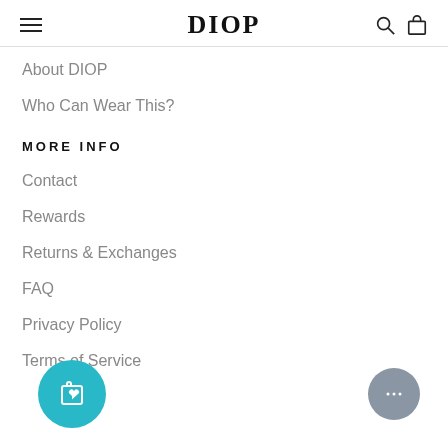DIOP
About DIOP
Who Can Wear This?
MORE INFO
Contact
Rewards
Returns & Exchanges
FAQ
Privacy Policy
Terms of Service